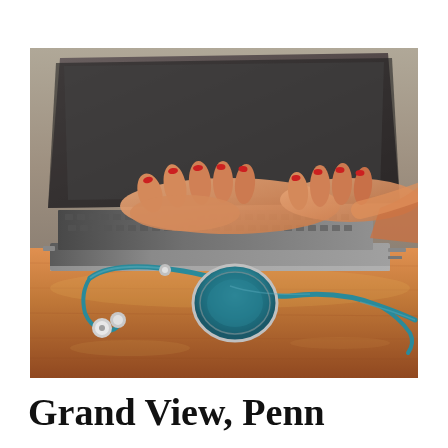[Figure (photo): A person typing on a laptop computer with a teal/blue stethoscope lying on a wooden desk in the foreground. The person's hands are visible with red nail polish. The scene suggests a medical or healthcare context.]
Grand View, Penn